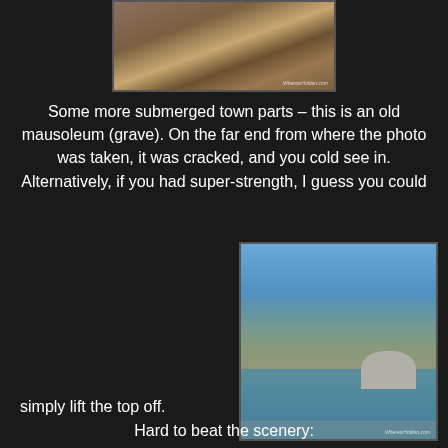[Figure (photo): Partial top photo showing ancient stone ruins or mausoleum structure with a person standing among large stone cylinders or columns, with watermark 'WhereisHolden.com']
Some more submerged town parts – this is an old mausoleum (grave).  On the far end from where the photo was taken, it was cracked, and you cold see in.  Alternatively, if you had super-strength, I guess you could
[Figure (photo): Photo of a submerged ancient mausoleum/tomb structure partially above water in a bay or lake, with rocky hills in the background under a clear blue sky. Watermark 'WhereisHolden.com'.]
simply lift the top off.
Hard to beat the scenery: